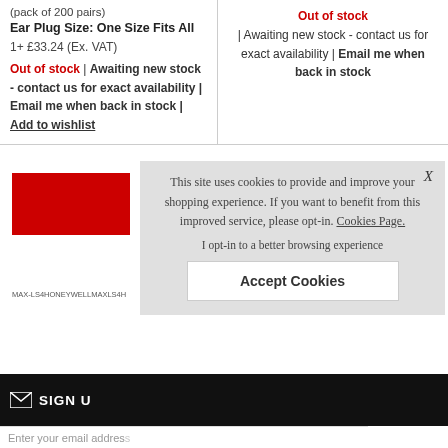(pack of 200 pairs)
Ear Plug Size: One Size Fits All
1+ £33.24 (Ex. VAT)
Out of stock | Awaiting new stock - contact us for exact availability | Email me when back in stock | Add to wishlist
Out of stock | Awaiting new stock - contact us for exact availability | Email me when back in stock
[Figure (screenshot): Red product image placeholder box]
MAX-LS4HONEYWELLMAXLS4H
This site uses cookies to provide and improve your shopping experience. If you want to benefit from this improved service, please opt-in. Cookies Page. I opt-in to a better browsing experience Accept Cookies X
SIGN U
Enter your email address